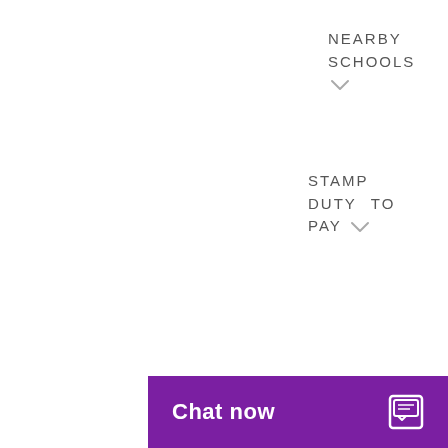NEARBY SCHOOLS ∨
STAMP DUTY TO PAY ∨
MAP  STREETVIEW
[Figure (map): Street map showing Fulham area with roads including Munster Rd, A304, New Palace Road, and a purple location pin marker]
[Figure (other): reCAPTCHA verification widget with robot icon and Privacy/Terms text]
Chat now